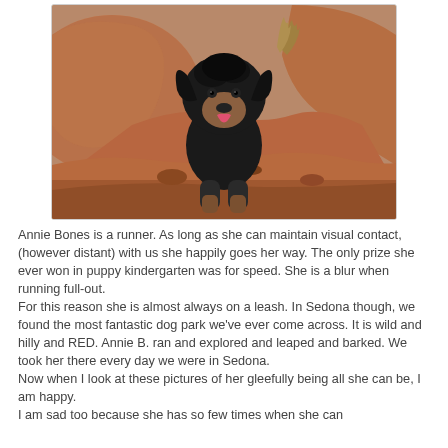[Figure (photo): A black and tan dog (Annie Bones) running toward the camera among large reddish-orange rocks and boulders in Sedona, Arizona. The dog has curly black fur, a pink tongue out, and appears to be leaping forward.]
Annie Bones is a runner. As long as she can maintain visual contact, (however distant) with us she happily goes her way. The only prize she ever won in puppy kindergarten was for speed. She is a blur when running full-out.
For this reason she is almost always on a leash. In Sedona though, we found the most fantastic dog park we've ever come across. It is wild and hilly and RED. Annie B. ran and explored and leaped and barked. We took her there every day we were in Sedona.
Now when I look at these pictures of her gleefully being all she can be, I am happy.
I am sad too because she has so few times when she can